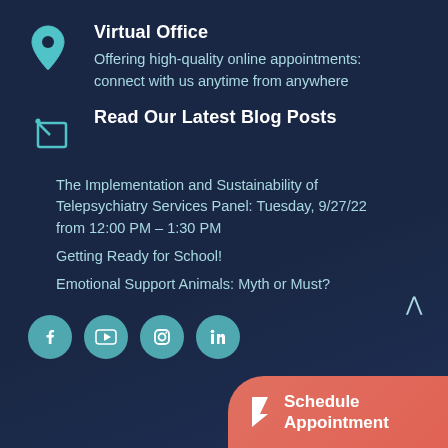Virtual Office
Offering high-quality online appointments: connect with us anytime from anywhere
Read Our Latest Blog Posts
The Implementation and Sustainability of Telepsychiatry Services Panel: Tuesday, 9/27/22 from 12:00 PM – 1:30 PM
Getting Ready for School!
Emotional Support Animals: Myth or Must?
[Figure (infographic): Social media icons row: Facebook, YouTube, Instagram, LinkedIn — teal circles]
[Figure (infographic): Schedule Appointment button with cursor icon on salmon/coral background, bottom-right corner]